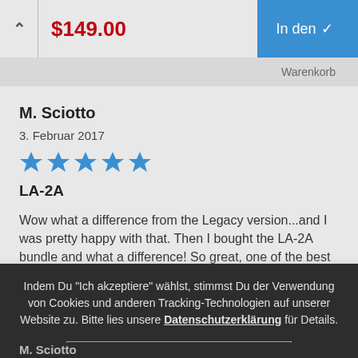$149.00   In den
Warenkorb
M. Sciotto
3. Februar 2017
[Figure (other): 5 blue stars rating]
LA-2A
Wow what a difference from the Legacy version...and I was pretty happy with that. Then I bought the LA-2A bundle and what a difference! So great, one of the best
Indem Du "Ich akzeptiere" wählst, stimmst Du der Verwendung von Cookies und anderen Tracking-Technologien auf unserer Website zu. Bitte lies unsere Datenschutzerklärung für Details.
Ich akzeptiere
M. Sciotto